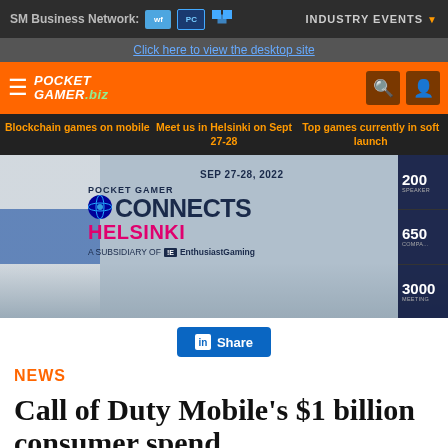SM Business Network: | INDUSTRY EVENTS
Click here to view the desktop site
POCKET GAMER .biz
Blockchain games on mobile | Meet us in Helsinki on Sept 27-28 | Top games currently in soft launch
[Figure (screenshot): Pocket Gamer Connects Helsinki banner ad. Text reads: POCKET GAMER CONNECTS | SEP 27-28, 2022 | HELSINKI | A SUBSIDIARY OF EnthusiastGaming. Stats on right: 200 SPEAKERS, 650 COMPANIES, 3000 MEETINGS]
Share
NEWS
Call of Duty Mobile's $1 billion consumer spend